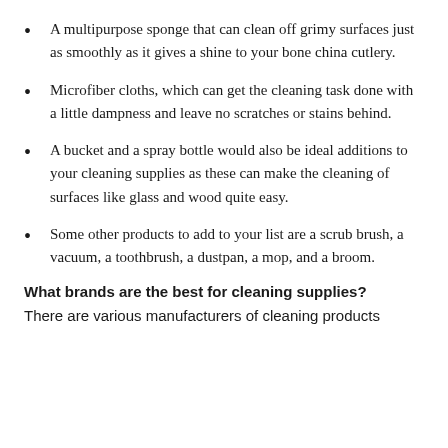A multipurpose sponge that can clean off grimy surfaces just as smoothly as it gives a shine to your bone china cutlery.
Microfiber cloths, which can get the cleaning task done with a little dampness and leave no scratches or stains behind.
A bucket and a spray bottle would also be ideal additions to your cleaning supplies as these can make the cleaning of surfaces like glass and wood quite easy.
Some other products to add to your list are a scrub brush, a vacuum, a toothbrush, a dustpan, a mop, and a broom.
What brands are the best for cleaning supplies?
There are various manufacturers of cleaning products